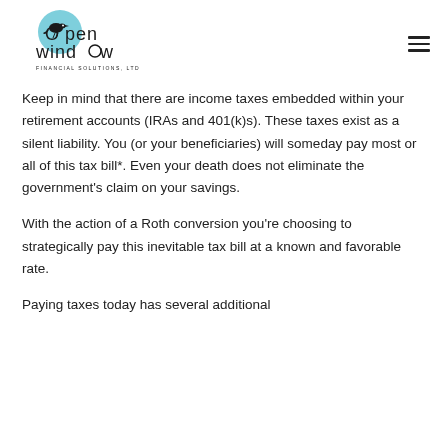[Figure (logo): Open Window Financial Solutions, Ltd logo — circular teal/blue background with a black bird silhouette, stylized text reading 'Open Window Financial Solutions, Ltd']
Keep in mind that there are income taxes embedded within your retirement accounts (IRAs and 401(k)s). These taxes exist as a silent liability. You (or your beneficiaries) will someday pay most or all of this tax bill*. Even your death does not eliminate the government's claim on your savings.
With the action of a Roth conversion you're choosing to strategically pay this inevitable tax bill at a known and favorable rate.
Paying taxes today has several additional